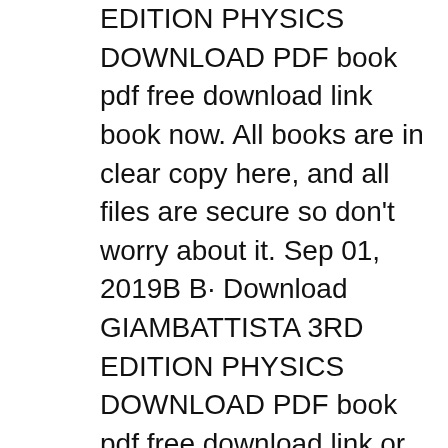EDITION PHYSICS DOWNLOAD PDF book pdf free download link book now. All books are in clear copy here, and all files are secure so don't worry about it. Sep 01, 2019B B· Download GIAMBATTISTA 3RD EDITION PHYSICS DOWNLOAD PDF book pdf free download link or read online here in PDF. Read online GIAMBATTISTA 3RD EDITION PHYSICS DOWNLOAD PDF book pdf free download link book now. All books are in clear copy here, and all files are secure so don't worry about it.
Jan 08, 2018B B· Physics 3rd Edition Giambattisata Solutions Manual Download: https://goo.gl/tCecsg giambattista physics 3rd edition pdf